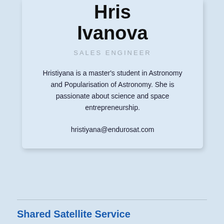Hris Ivanova
SALES ENGINEER
Hristiyana is a master's student in Astronomy and Popularisation of Astronomy. She is passionate about science and space entrepreneurship.
hristiyana@endurosat.com
Shared Satellite Service